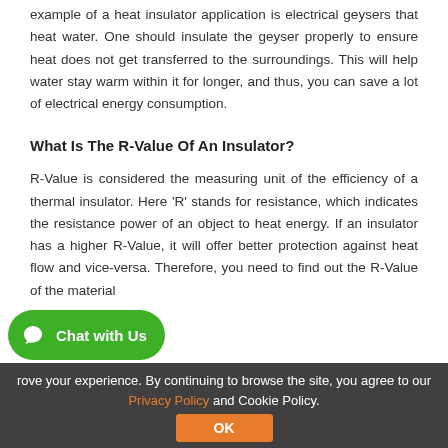example of a heat insulator application is electrical geysers that heat water. One should insulate the geyser properly to ensure heat does not get transferred to the surroundings. This will help water stay warm within it for longer, and thus, you can save a lot of electrical energy consumption.
What Is The R-Value Of An Insulator?
R-Value is considered the measuring unit of the efficiency of a thermal insulator. Here ‘R’ stands for resistance, which indicates the resistance power of an object to heat energy. If an insulator has a higher R-Value, it will offer better protection against heat flow and vice-versa. Therefore, you need to find out the R-Value of the material
rove your experience. By continuing to browse the site, you agree to our Privacy Policy and Cookie Policy.